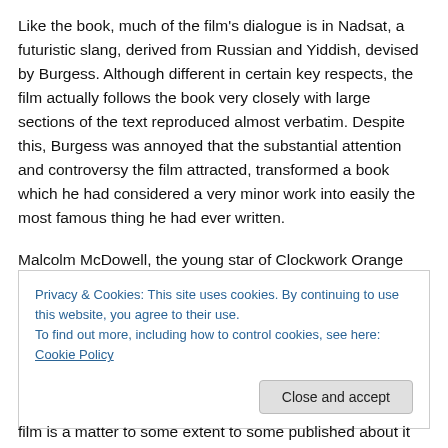Like the book, much of the film's dialogue is in Nadsat, a futuristic slang, derived from Russian and Yiddish, devised by Burgess. Although different in certain key respects, the film actually follows the book very closely with large sections of the text reproduced almost verbatim. Despite this, Burgess was annoyed that the substantial attention and controversy the film attracted, transformed a book which he had considered a very minor work into easily the most famous thing he had ever written.
Malcolm McDowell, the young star of Clockwork Orange
Privacy & Cookies: This site uses cookies. By continuing to use this website, you agree to their use.
To find out more, including how to control cookies, see here: Cookie Policy
Close and accept
film is a matter...